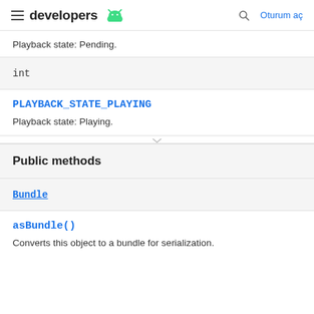developers | Oturum aç
Playback state: Pending.
int
PLAYBACK_STATE_PLAYING
Playback state: Playing.
Public methods
Bundle
asBundle()
Converts this object to a bundle for serialization.